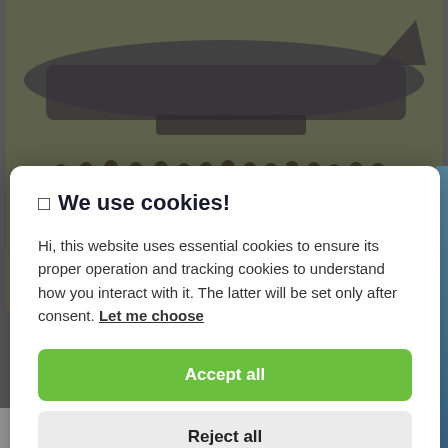[Figure (photo): Group of military personnel standing in front of a large aircraft on a tarmac. The photo is muted/desaturated with olive and tan tones.]
🍪 We use cookies!
Hi, this website uses essential cookies to ensure its proper operation and tracking cookies to understand how you interact with it. The latter will be set only after consent. Let me choose
Accept all
Reject all
Glovo Diesel Market Review Strategy for 2022...